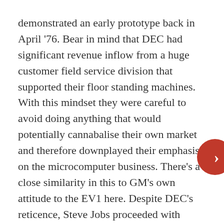demonstrated an early prototype back in April '76. Bear in mind that DEC had significant revenue inflow from a huge customer field service division that supported their floor standing machines. With this mindset they were careful to avoid doing anything that would potentially cannabalise their own market and therefore downplayed their emphasis on the microcomputer business. There's a close similarity in this to GM's own attitude to the EV1 here. Despite DEC's reticence, Steve Jobs proceeded with Apple into that business category. Then IBM, determined not to be burned a second time, changed their strategy. There was no time to design their own microprocessor architecture so they abandonned their NIMBY design culture and followed on with an outsourced processor chipset from Intel. That's right, computer giant IBM couldn't come up with their own competitive chips in the immediate time frame.!!